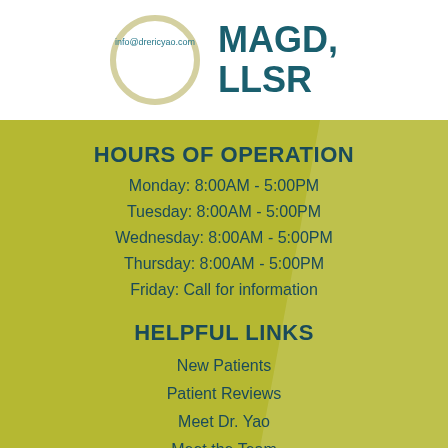[Figure (logo): Circular logo with email info@drericyao.com and text MAGD, LLSR in teal on white background header bar]
HOURS OF OPERATION
Monday: 8:00AM - 5:00PM
Tuesday: 8:00AM - 5:00PM
Wednesday: 8:00AM - 5:00PM
Thursday: 8:00AM - 5:00PM
Friday: Call for information
HELPFUL LINKS
New Patients
Patient Reviews
Meet Dr. Yao
Meet the Team
Facebook